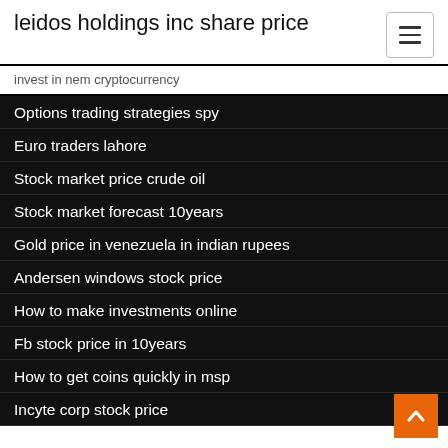leidos holdings inc share price
invest in nem cryptocurrency
Options trading strategies spy
Euro traders lahore
Stock market price crude oil
Stock market forecast 10years
Gold price in venezuela in indian rupees
Andersen windows stock price
How to make investments online
Fb stock price in 10years
How to get coins quickly in msp
Incyte corp stock price